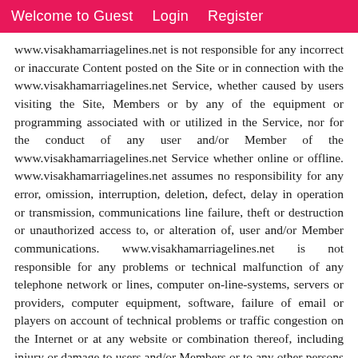Welcome to Guest   Login   Register
www.visakhamarriagelines.net is not responsible for any incorrect or inaccurate Content posted on the Site or in connection with the www.visakhamarriagelines.net Service, whether caused by users visiting the Site, Members or by any of the equipment or programming associated with or utilized in the Service, nor for the conduct of any user and/or Member of the www.visakhamarriagelines.net Service whether online or offline. www.visakhamarriagelines.net assumes no responsibility for any error, omission, interruption, deletion, defect, delay in operation or transmission, communications line failure, theft or destruction or unauthorized access to, or alteration of, user and/or Member communications. www.visakhamarriagelines.net is not responsible for any problems or technical malfunction of any telephone network or lines, computer on-line-systems, servers or providers, computer equipment, software, failure of email or players on account of technical problems or traffic congestion on the Internet or at any website or combination thereof, including injury or damage to users and/or Members or to any other persons computer related to or resulting from participating or downloading materials in connection with the